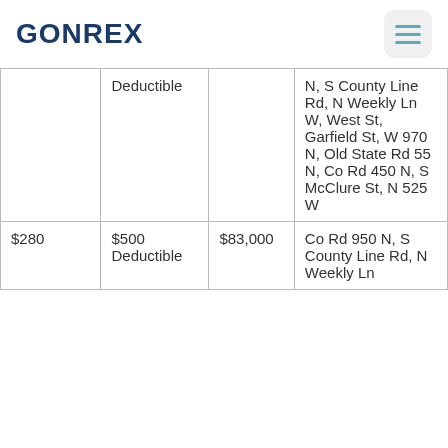GONREX
|  | Deductible |  | Location |
| --- | --- | --- | --- |
|  | $500 Deductible |  | N, S County Line Rd, N Weekly Ln W, West St, Garfield St, W 970 N, Old State Rd 55 N, Co Rd 450 N, S McClure St, N 525 W |
| $280 | $500 Deductible | $83,000 | Co Rd 950 N, S County Line Rd, N Weekly Ln ... |